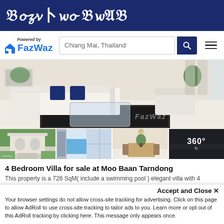Bangkok Post
[Figure (logo): FazWaz logo with 'Powered by' text, search bar showing 'Chiang Mai, Thailand', search button, and hamburger menu]
[Figure (photo): Main photo of elegant white living room with L-shaped sofa, blue pillows, glass coffee table, patterned rug. Below: four thumbnail images of villa exterior, pool area, dining room, and a 360-degree view thumbnail.]
4 Bedroom Villa for sale at Moo Baan Tarndong
This property is a 726 SqM( include a swimming pool ) elegant villa with 4 bedrooms and 3 bathrooms. That is available for sale. Beautiful Villa-style
Accept and Close ✕
Your browser settings do not allow cross-site tracking for advertising. Click on this page to allow AdRoll to use cross-site tracking to tailor ads to you. Learn more or opt out of this AdRoll tracking by clicking here. This message only appears once.